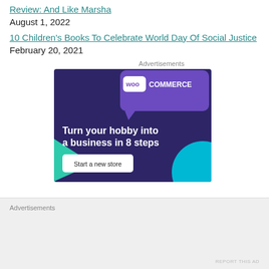Review: And Like Marsha
August 1, 2022
10 Children's Books To Celebrate World Day Of Social Justice
February 20, 2021
Advertisements
[Figure (illustration): WooCommerce advertisement banner with dark purple background, green triangle, teal circle, white WooCommerce logo, and text 'Turn your hobby into a business in 8 steps' with a 'Start a new store' button]
Advertisements